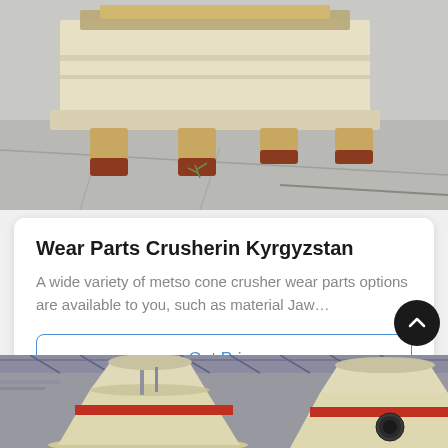[Figure (photo): Industrial crusher machine (jaw crusher) with cream/beige color, sitting on a concrete floor outdoors. The machine has cylindrical feet and visible structural metal frame on top.]
Wear Parts Crusherin Kyrgyzstan
A wide variety of metso cone crusher wear parts options are available to you, such as material Jaw…
Get Price
[Figure (photo): Industrial cone crushers (two large cream/beige colored cone crusher machines with red horizontal bands) inside a factory/warehouse facility with metal roof structure visible.]